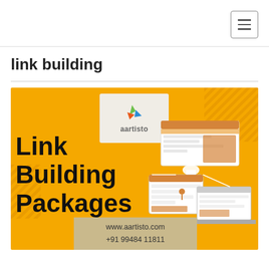≡ (navigation menu button)
link building
[Figure (illustration): Aartisto Link Building Packages promotional banner on yellow/orange background with logo, text 'Link Building Packages', web device illustrations, and contact info www.aartisto.com +91 99484 11811]